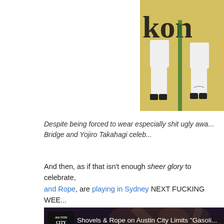[Figure (photo): Soccer players in white uniforms with a yellow advertising board showing 'kon' text in the background]
Despite being forced to wear especially shit ugly awa... Bridge and Yojiro Takahagi celeb...
And then, as if that isn't enough sheer glory to celebrate, and Rope, are playing in Sydney NEXT FUCKING WEE...
[Figure (screenshot): Video thumbnail showing Austin City Limits logo with text 'Shovels & Rope on Austin City Limits "Gasoli...' and a performer playing guitar on stage]